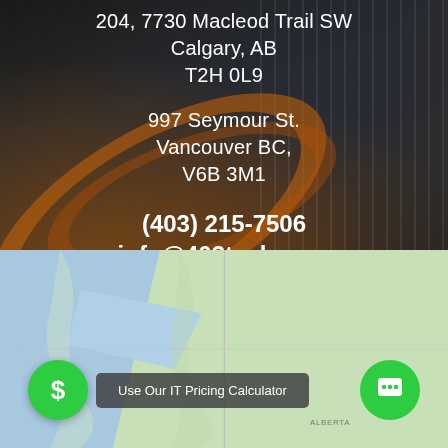204, 7730 Macleod Trail SW
Calgary, AB
T2H 0L9
997 Seymour St.
Vancouver BC,
V6B 3M1
(403) 215-7506
info@403tech.com
1-604-757-3040
[Figure (map): Google Maps screenshot showing western Canada coastline region with green land and blue water. Includes a 'Use Our IT Pricing Calculator' button overlay and two green circular buttons (dollar sign and chat icon).]